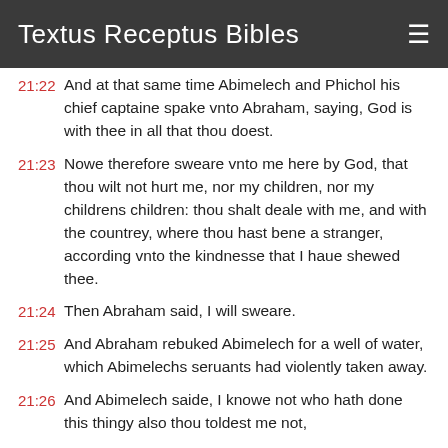Textus Receptus Bibles
21:22 And at that same time Abimelech and Phichol his chief captaine spake vnto Abraham, saying, God is with thee in all that thou doest.
21:23 Nowe therefore sweare vnto me here by God, that thou wilt not hurt me, nor my children, nor my childrens children: thou shalt deale with me, and with the countrey, where thou hast bene a stranger, according vnto the kindnesse that I haue shewed thee.
21:24 Then Abraham said, I will sweare.
21:25 And Abraham rebuked Abimelech for a well of water, which Abimelechs seruants had violently taken away.
21:26 And Abimelech saide, I knowe not who hath done this thingy also thou toldest me not,